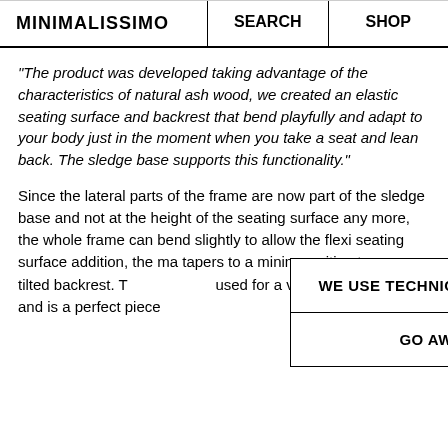MINIMALISSIMO   SEARCH   SHOP
“The product was developed taking advantage of the characteristics of natural ash wood, we created an elastic seating surface and backrest that bend playfully and adapt to your body just in the moment when you take a seat and lean back. The sledge base supports this functionality.”
Since the lateral parts of the frame are now part of the sledge base and not at the height of the seating surface any more, the whole frame can bend slightly to allow the flexi seating surface addition, the ma tapers to a minim position to a con tilted backrest. T used for a variety of situations and is a perfect piece
WE USE TECHNICAL COOKIES
GO AWAY